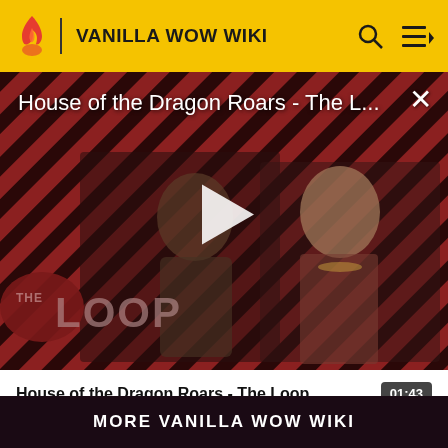VANILLA WOW WIKI
[Figure (screenshot): Video player showing House of the Dragon Roars - The L... with play button overlay, two characters visible, THE LOOP logo in bottom left, close button top right, diagonal red/dark stripe pattern background]
House of the Dragon Roars - The Loop
01:43
otherwise noted.
MORE VANILLA WOW WIKI